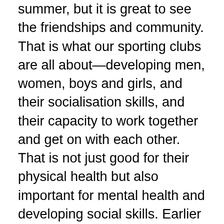summer, but it is great to see the friendships and community. That is what our sporting clubs are all about—developing men, women, boys and girls, and their socialisation skills, and their capacity to work together and get on with each other. That is not just good for their physical health but also important for mental health and developing social skills. Earlier this week we were able to turn the sod on the new indoor cricket facility at Mark Taylor Oval in Waitara. Jeremy Hook, the President of the Northern Suburbs Cricket Club, was there and the Mayor and councillors of Hornsby council. That is a $9 million project supported by the State Government. The Mark Taylor Oval is going to be one of the best ovals in Sydney. It has had a poor surface for a long time, and I